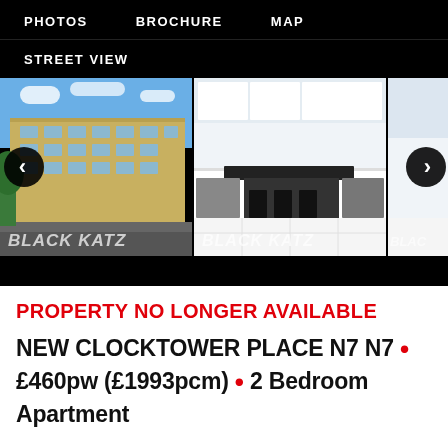PHOTOS   BROCHURE   MAP   STREET VIEW
[Figure (photo): Property listing photo gallery showing: (1) exterior of a modern apartment block with brick facade and balconies under blue sky, watermarked BLACK KATZ; (2) interior kitchen/living room with white units, dark worktops and island, watermarked BLACK KATZ; (3) partial third photo with navigation arrows]
PROPERTY NO LONGER AVAILABLE
NEW CLOCKTOWER PLACE N7 N7 • £460pw (£1993pcm) • 2 Bedroom Apartment